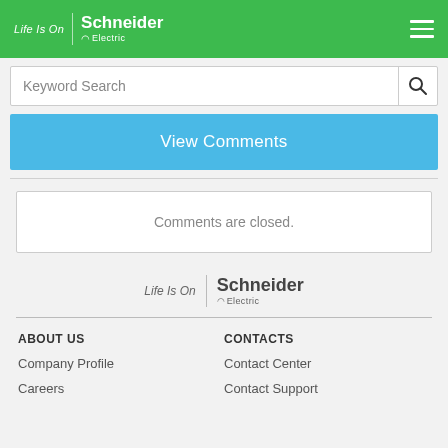Life Is On | Schneider Electric
Keyword Search
View Comments
Comments are closed.
[Figure (logo): Schneider Electric logo with 'Life Is On' tagline in footer]
ABOUT US
CONTACTS
Company Profile
Contact Center
Careers
Contact Support